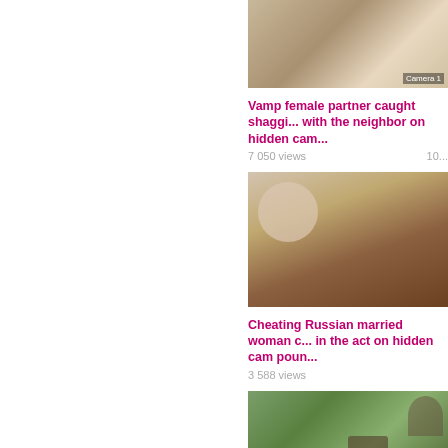[Figure (photo): Video thumbnail - partially visible, cropped left side]
Vamp female partner caught shaggi... with the neighbor on hidden cam...
7 050 views   10...
[Figure (photo): Video thumbnail - partially visible, cropped left side]
Cheating Russian married woman c... in the act on hidden cam poun...
3 588 views
[Figure (photo): Video thumbnail - partially visible, cropped left side, outdoor scene with trees]